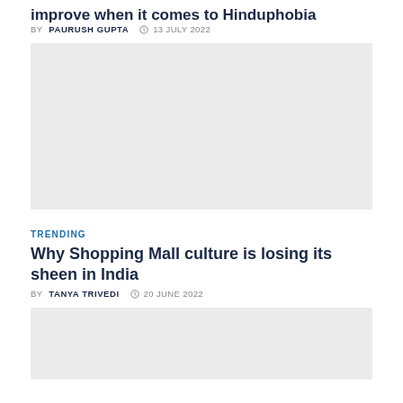improve when it comes to Hinduphobia
BY PAURUSH GUPTA  13 JULY 2022
[Figure (photo): Placeholder image rectangle with light gray background]
TRENDING
Why Shopping Mall culture is losing its sheen in India
BY TANYA TRIVEDI  20 JUNE 2022
[Figure (photo): Placeholder image rectangle with light gray background, partially visible]